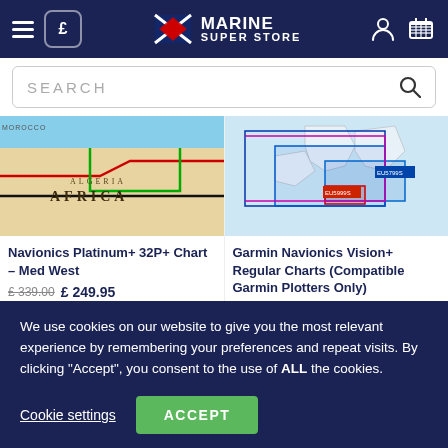Marine Super Store
SEARCH
[Figure (map): Map showing Africa/Med West region for Navionics chart coverage]
Navionics Platinum+ 32P+ Chart – Med West
£ 339.00  £ 249.95
[Figure (map): Map showing European/UK waters for Garmin Navionics Vision+ Regular Charts coverage]
Garmin Navionics Vision+ Regular Charts (Compatible Garmin Plotters Only)
£ 239.99  £ 219.95
We use cookies on our website to give you the most relevant experience by remembering your preferences and repeat visits. By clicking "Accept", you consent to the use of ALL the cookies.
Cookie settings
ACCEPT